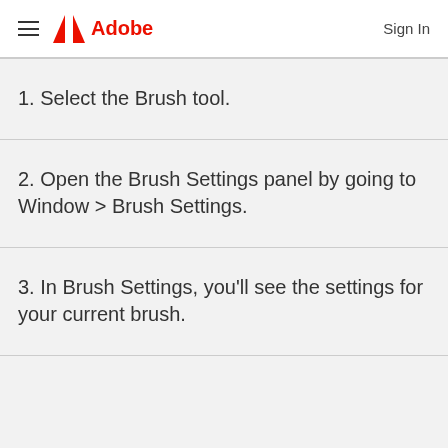Adobe — Sign In
1. Select the Brush tool.
2. Open the Brush Settings panel by going to Window > Brush Settings.
3. In Brush Settings, you'll see the settings for your current brush.